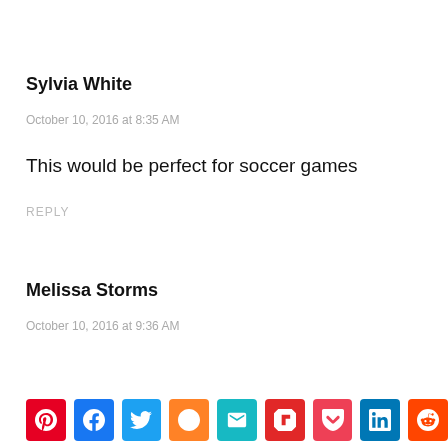Sylvia White
October 10, 2016 at 8:35 AM
This would be perfect for soccer games
REPLY
Melissa Storms
October 10, 2016 at 9:36 AM
[Figure (other): Social sharing buttons row: Pinterest, Facebook, Twitter, Mix, Email, Flipboard, Pocket, LinkedIn, Reddit]